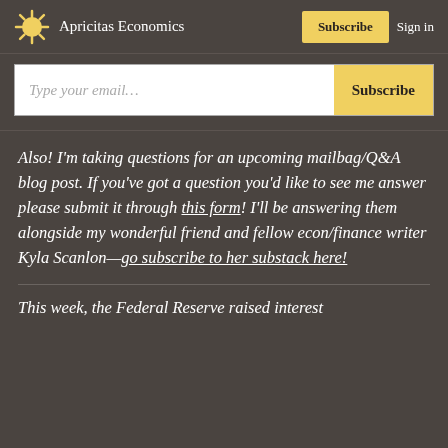Apricitas Economics  Subscribe  Sign in
[Figure (other): Email subscription form with text input 'Type your email...' and yellow Subscribe button]
Also! I'm taking questions for an upcoming mailbag/Q&A blog post. If you've got a question you'd like to see me answer please submit it through this form! I'll be answering them alongside my wonderful friend and fellow econ/finance writer Kyla Scanlon—go subscribe to her substack here!
This week, the Federal Reserve raised interest